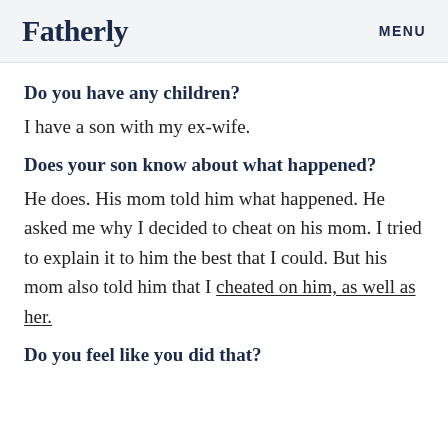Fatherly | MENU
Do you have any children?
I have a son with my ex-wife.
Does your son know about what happened?
He does. His mom told him what happened. He asked me why I decided to cheat on his mom. I tried to explain it to him the best that I could. But his mom also told him that I cheated on him, as well as her.
Do you feel like you did that?